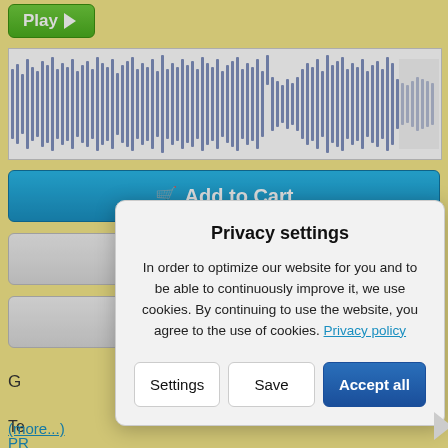[Figure (screenshot): Green Play button with right-pointing triangle]
[Figure (continuous-plot): Audio waveform visualization showing sound amplitude over time, blue/navy colored waveform on white background]
Add to Cart
Download Preview
Find related Tracks
G
Te
PR
(more...)
Privacy settings
In order to optimize our website for you and to be able to continuously improve it, we use cookies. By continuing to use the website, you agree to the use of cookies. Privacy policy
Settings
Save
Accept all